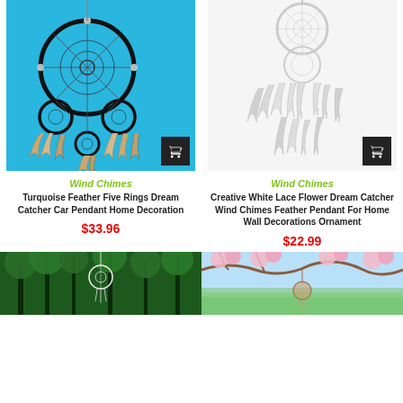[Figure (photo): Turquoise/dark dream catcher with multiple rings and feathers on blue background]
[Figure (photo): White lace flower dream catcher with white feathers on white background]
Wind Chimes
Turquoise Feather Five Rings Dream Catcher Car Pendant Home Decoration
$33.96
Wind Chimes
Creative White Lace Flower Dream Catcher Wind Chimes Feather Pendant For Home Wall Decorations Ornament
$22.99
[Figure (photo): Dream catcher hanging outdoors with green forest background]
[Figure (photo): Dream catcher hanging in garden with cherry blossom trees background]